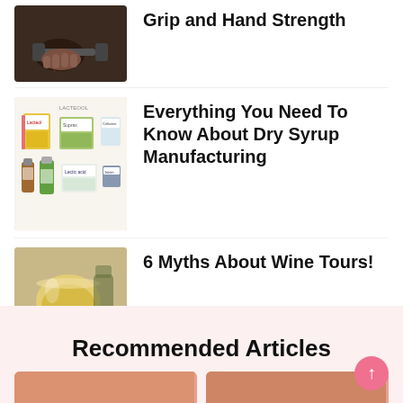[Figure (photo): Person holding a dumbbell, fitness/strength training photo]
Grip and Hand Strength
[Figure (photo): Various pharmaceutical dry syrup medicine boxes and bottles]
Everything You Need To Know About Dry Syrup Manufacturing
[Figure (photo): Glass of white wine being poured or swirled]
6 Myths About Wine Tours!
Recommended Articles
[Figure (photo): Recommended article thumbnail images at bottom]